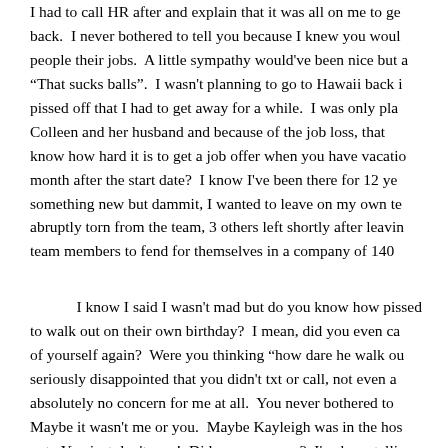I had to call HR after and explain that it was all on me to ge back. I never bothered to tell you because I knew you woul people their jobs. A little sympathy would've been nice but a "That sucks balls". I wasn't planning to go to Hawaii back i pissed off that I had to get away for a while. I was only pla Colleen and her husband and because of the job loss, that know how hard it is to get a job offer when you have vacatio month after the start date? I know I've been there for 12 ye something new but dammit, I wanted to leave on my own te abruptly torn from the team, 3 others left shortly after leavin team members to fend for themselves in a company of 140
I know I said I wasn't mad but do you know how pissed to walk out on their own birthday? I mean, did you even ca of yourself again? Were you thinking "how dare he walk ou seriously disappointed that you didn't txt or call, not even a absolutely no concern for me at all. You never bothered to Maybe it wasn't me or you. Maybe Kayleigh was in the hos out. You just don't care! Did you ever care? I've been telli blood pressure and I often get heart palpitations for the pas never asked me how that's going. You only kept buggin